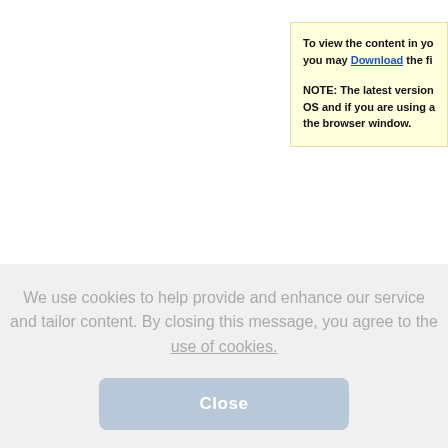To view the content in yo you may Download the fi NOTE: The latest version OS and if you are using a the browser window.
We use cookies to help provide and enhance our service and tailor content. By closing this message, you agree to the use of cookies.
Close